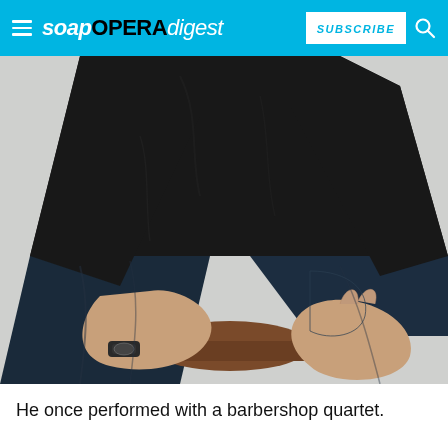soap OPERA digest  SUBSCRIBE
[Figure (photo): A muscular man wearing a black t-shirt and dark jeans sits on a wooden stool. He has a watch on his left wrist. The photo is cropped from the neck down and shows his torso, arms, and upper legs. The background is light gray/white.]
He once performed with a barbershop quartet.